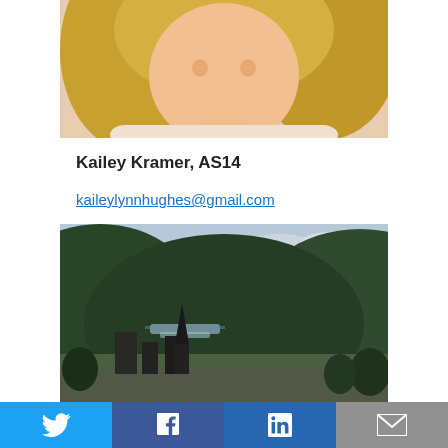[Figure (photo): Cropped portrait photo of a blonde woman in a light-colored top, showing from shoulders up]
Kailey Kramer, AS14
kaileylynnhughes@gmail.com
Pittsburgh, PA
Favorite Memory:
Trips to UDairy!
[Figure (photo): Aerial/landscape panoramic photo of a river valley town surrounded by forested hills, likely Harper's Ferry area]
[Figure (infographic): Social media sharing bar with Twitter, Facebook, LinkedIn, and email buttons]